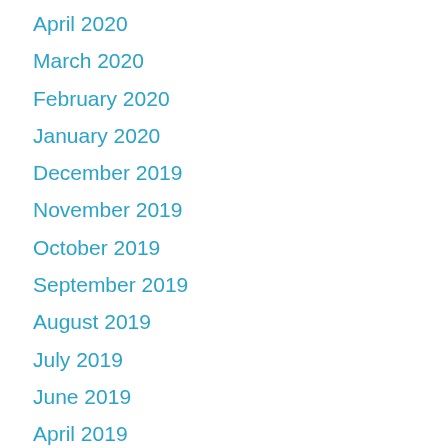April 2020
March 2020
February 2020
January 2020
December 2019
November 2019
October 2019
September 2019
August 2019
July 2019
June 2019
April 2019
March 2019
February 2019